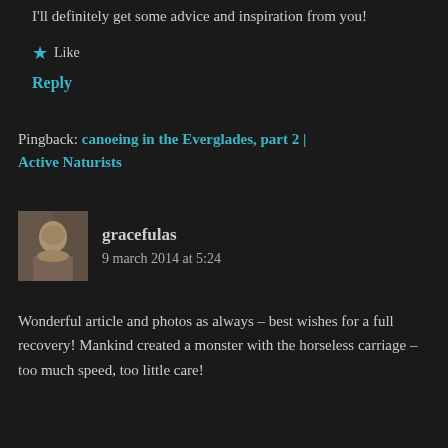I'll definitely get some advice and inspiration from you!
★ Like
Reply
Pingback: canoeing in the Everglades, part 2 | Active Naturists
[Figure (photo): User avatar photo of gracefulas, person facing slightly left]
gracefulas
9 march 2014 at 5:24
Wonderful article and photos as always – best wishes for a full recovery! Mankind created a monster with the horseless carriage – too much speed, too little care!